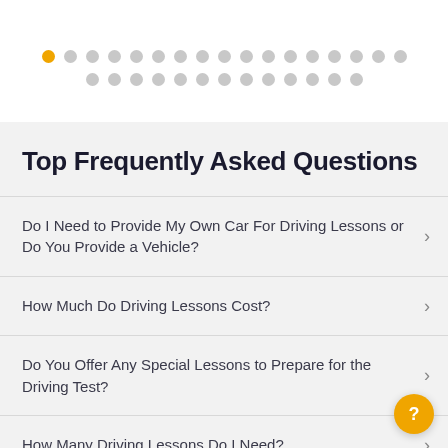[Figure (other): Pagination dots with first dot highlighted in orange/yellow and remaining dots in gray, arranged in two rows]
Top Frequently Asked Questions
Do I Need to Provide My Own Car For Driving Lessons or Do You Provide a Vehicle?
How Much Do Driving Lessons Cost?
Do You Offer Any Special Lessons to Prepare for the Driving Test?
How Many Driving Lessons Do I Need?